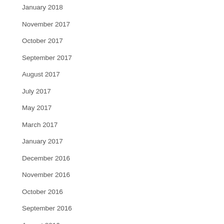January 2018
November 2017
October 2017
September 2017
August 2017
July 2017
May 2017
March 2017
January 2017
December 2016
November 2016
October 2016
September 2016
August 2016
June 2016